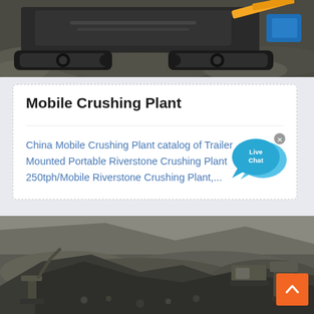[Figure (photo): Top portion of a mobile crushing machine/plant equipment on rocky terrain, showing tracks and orange/blue mechanical components]
Mobile Crushing Plant
China Mobile Crushing Plant catalog of Trailer Mounted Portable Riverstone Crushing Plant 250tph/Mobile Riverstone Crushing Plant,...
[Figure (other): Live Chat bubble icon with blue speech bubbles and white text saying 'Live Chat', with an X close button]
[Figure (photo): Bottom photo of a large open-pit mining or quarrying operation with heavy machinery including an excavator and piles of crushed rock/stone material]
[Figure (other): Orange back-to-top button with white chevron arrow in bottom right corner]